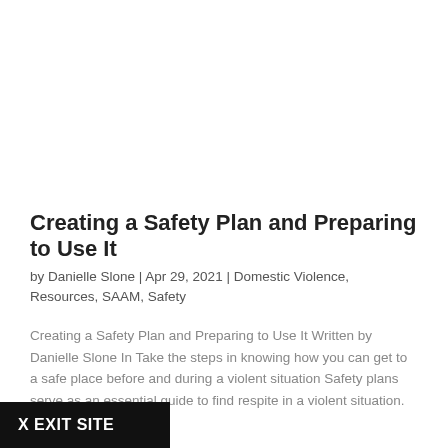Creating a Safety Plan and Preparing to Use It
by Danielle Slone | Apr 29, 2021 | Domestic Violence, Resources, SAAM, Safety
Creating a Safety Plan and Preparing to Use It Written by Danielle Slone In Take the steps in knowing how you can get to a safe place before and during a violent situation Safety plans serve as an essential guide to find respite in a violent situation.
X EXIT SITE